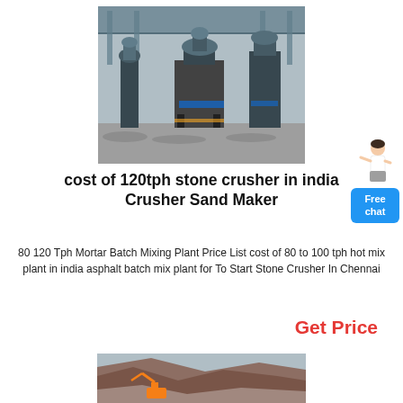[Figure (photo): Industrial stone crusher / sand maker machines in a factory setting with gravel on the floor, roof structure visible overhead]
[Figure (illustration): Small cartoon figure of a woman in white shirt pointing, next to a blue 'Free chat' button widget]
cost of 120tph stone crusher in india Crusher Sand Maker
80 120 Tph Mortar Batch Mixing Plant Price List cost of 80 to 100 tph hot mix plant in india asphalt batch mix plant for To Start Stone Crusher In Chennai
Get Price
[Figure (photo): Outdoor quarry or mining site with rocky hillside, excavator or construction equipment visible at base]